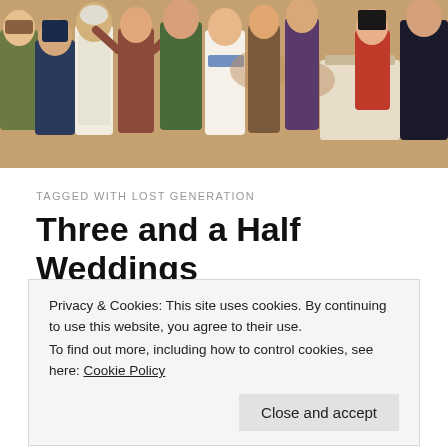[Figure (illustration): Vintage colorful illustration of people dancing and celebrating at a wedding feast scene, period costumes, festive setting]
TAGGED WITH LOST GENERATION
Three and a Half Weddings and a Funeral
[Figure (photo): Vintage card or postcard with header reading 'BLUE BELLE MUNITIONAIRE' and image of a woman's portrait]
Privacy & Cookies: This site uses cookies. By continuing to use this website, you agree to their use.
To find out more, including how to control cookies, see here: Cookie Policy
Close and accept